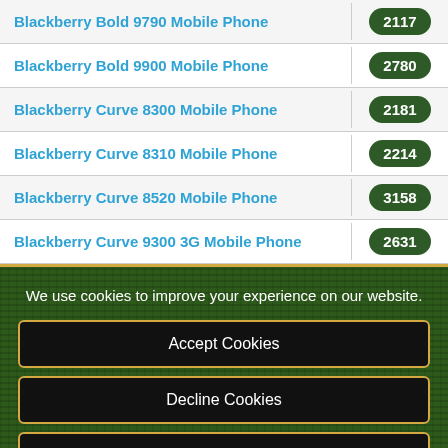| Product | Count |
| --- | --- |
| Blackberry Bold 9790 Mobile Phone | 2117 |
| Blackberry Bold 9900 Mobile Phone | 2780 |
| Blackberry Curve 8300 Mobile Phone | 2181 |
| Blackberry Curve 8310 Mobile Phone | 2214 |
| Blackberry Curve 8520 Mobile Phone | 3158 |
| Blackberry Curve 9300 3G Mobile Phone | 2631 |
We use cookies to improve your experience on our website.
Accept Cookies
Decline Cookies
About Cookies
Privacy and Cookie Policy